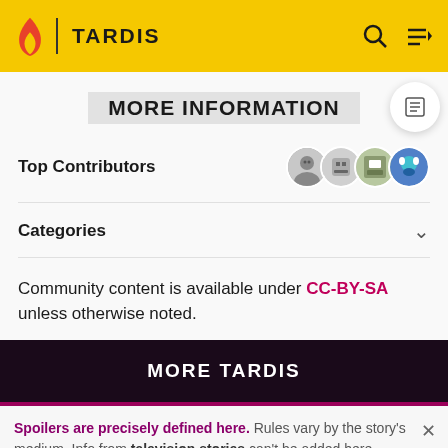TARDIS
MORE INFORMATION
Top Contributors
Categories
Community content is available under CC-BY-SA unless otherwise noted.
MORE TARDIS
Spoilers are precisely defined here. Rules vary by the story's medium. Info from television stories can't be added here
READ MORE